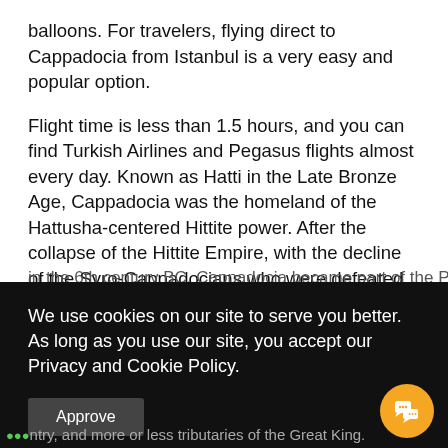balloons. For travelers, flying direct to Cappadocia from Istanbul is a very easy and popular option.
Flight time is less than 1.5 hours, and you can find Turkish Airlines and Pegasus flights almost every day. Known as Hatti in the Late Bronze Age, Cappadocia was the homeland of the Hattusha-centered Hittite power. After the collapse of the Hittite Empire, with the decline of the Syro-Cappadocians who were defeated by the Lydian king Karun
We use cookies on our site to serve you better. As long as you use our site, you accept our Privacy and Cookie Policy.
Approve
country, and more or less tributaries of the Great King.